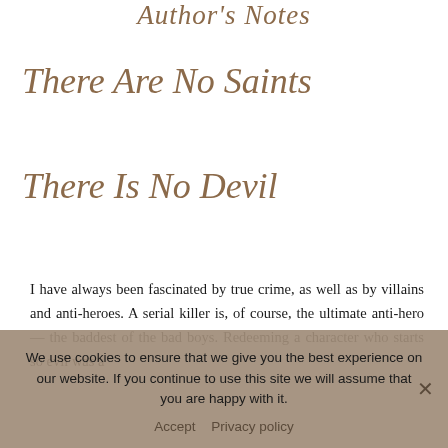Author's Notes
There Are No Saints
There Is No Devil
I have always been fascinated by true crime, as well as by villains and anti-heroes. A serial killer is, of course, the ultimate anti-hero — the baddest of the bad boys. Redeeming a character who starts so evil was a
We use cookies to ensure that we give you the best experience on our website. If you continue to use this site we will assume that you are happy with it.
Accept   Privacy policy